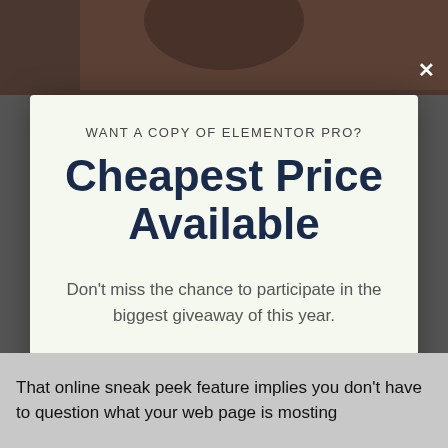[Figure (photo): Dark photo background at top of page, partially visible]
WANT A COPY OF ELEMENTOR PRO?
Cheapest Price Available
Don't miss the chance to participate in the biggest giveaway of this year.
VISIT ELEMENTOR OFFICIAL WEBSITE HERE 👉
No thanks, I'm not interested!
That online sneak peek feature implies you don't have to question what your web page is mosting